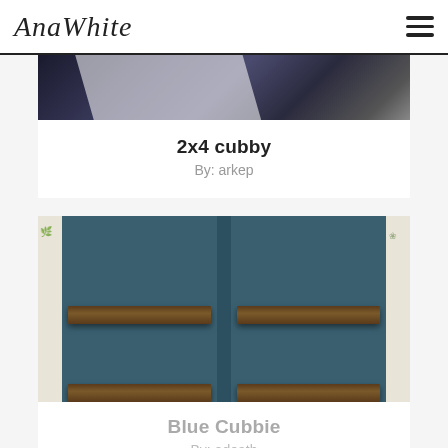AnaWhite
[Figure (photo): Partial top view of a 2x4 cubby project, dark background with white/light furniture piece visible]
2x4 cubby
By: arkep
[Figure (photo): Blue painted cubby bookshelf with two columns and wooden shelves, floral wallpaper visible on sides]
Blue Cubbie
By: adeath